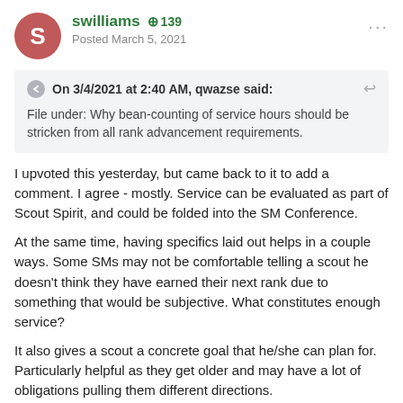swilliams  +139  Posted March 5, 2021
On 3/4/2021 at 2:40 AM, qwazse said:
File under: Why bean-counting of service hours should be stricken from all rank advancement requirements.
I upvoted this yesterday, but came back to it to add a comment. I agree - mostly. Service can be evaluated as part of Scout Spirit, and could be folded into the SM Conference.
At the same time, having specifics laid out helps in a couple ways. Some SMs may not be comfortable telling a scout he doesn't think they have earned their next rank due to something that would be subjective.  What constitutes enough service?
It also gives a scout a concrete goal that he/she can plan for. Particularly helpful as they get older and may have a lot of obligations pulling them different directions.